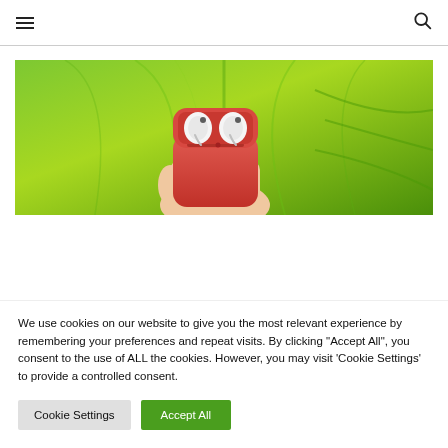Navigation bar with hamburger menu and search icon
[Figure (photo): A hand holding an open red AirPods case with white AirPods inside, against a bright green leaf background]
We use cookies on our website to give you the most relevant experience by remembering your preferences and repeat visits. By clicking "Accept All", you consent to the use of ALL the cookies. However, you may visit 'Cookie Settings' to provide a controlled consent.
Cookie Settings | Accept All